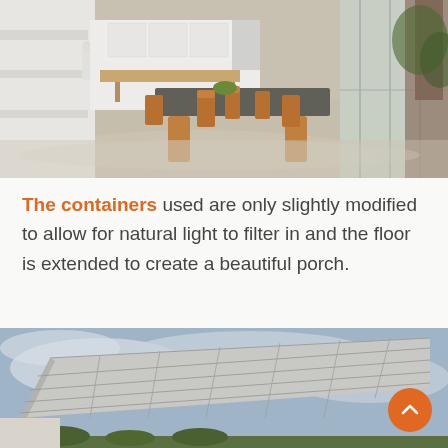[Figure (photo): Interior of a modern open-plan kitchen and dining area with polished concrete floors, wooden dining table and chairs, white cabinets, and large glass doors opening to a garden with trees.]
The containers used are only slightly modified to allow for natural light to filter in and the floor is extended to create a beautiful porch.
[Figure (photo): Exterior photo looking up at a modern building or roof canopy structure with paneled underside, set against a cloudy blue sky, with vegetation visible at the bottom.]